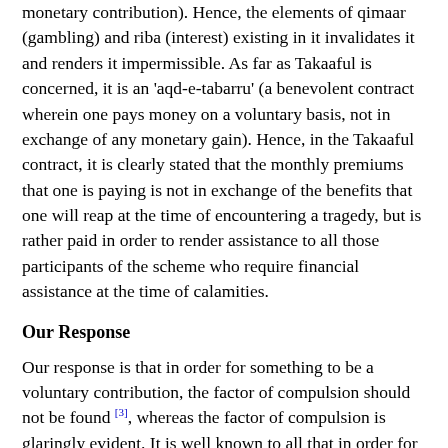benefits that one will receive in the future are in exchange of one's monetary contribution). Hence, the elements of qimaar (gambling) and riba (interest) existing in it invalidates it and renders it impermissible. As far as Takaaful is concerned, it is an 'aqd-e-tabarru' (a benevolent contract wherein one pays money on a voluntary basis, not in exchange of any monetary gain). Hence, in the Takaaful contract, it is clearly stated that the monthly premiums that one is paying is not in exchange of the benefits that one will reap at the time of encountering a tragedy, but is rather paid in order to render assistance to all those participants of the scheme who require financial assistance at the time of calamities.
Our Response
Our response is that in order for something to be a voluntary contribution, the factor of compulsion should not be found [3], whereas the factor of compulsion is glaringly evident. It is well known to all that in order for one to qualify for the benefits of the Takaful scheme, one is required to accept the conditions of the contract. When the participant is required to accept and abide by the conditions of the contract and ensure that he promptly pays the monthly premiums, and in the case of defaulting, his contract is